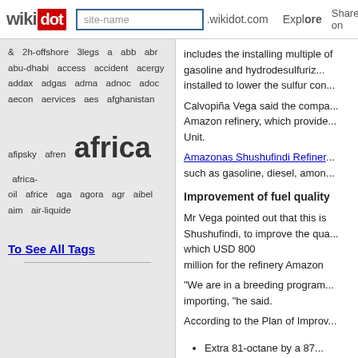wikidot | site-name | .wikidot.com | Explore | Share on
& 2h-offshore 3legs a abb abr abu-dhabi access accident acergy addax adgas adma adnoc adoc aecon aervices aes afghanistan afipsky afren africa africa-oil africe aga agora agr aibel aim air-liquide
To See All Tags
includes the installing multiple of gasoline and hydrodesulfurization installed to lower the sulfur con...
Calvopiña Vega said the company Amazon refinery, which provides Unit.
Amazonas Shushufindi Refinery such as gasoline, diesel, amon...
Improvement of fuel quality
Mr Vega pointed out that this is Shushufindi, to improve the quality which USD 800 million for the refinery Amazon
"We are in a breeding program importing, "he said.
According to the Plan of Improvement...
Extra 81-octane by a 87...
Super 90 octane to 92 o...
A second phase includes the in... Cracking) in refineries in Esmer... 2016.